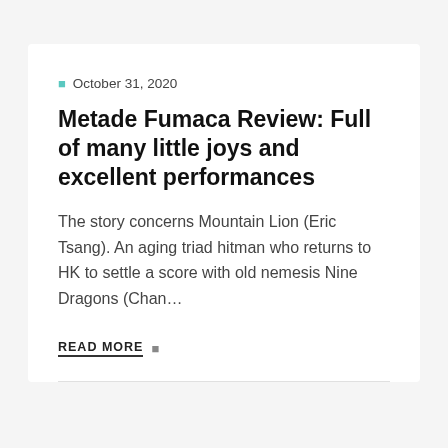October 31, 2020
Metade Fumaca Review: Full of many little joys and excellent performances
The story concerns Mountain Lion (Eric Tsang). An aging triad hitman who returns to HK to settle a score with old nemesis Nine Dragons (Chan…
READ MORE